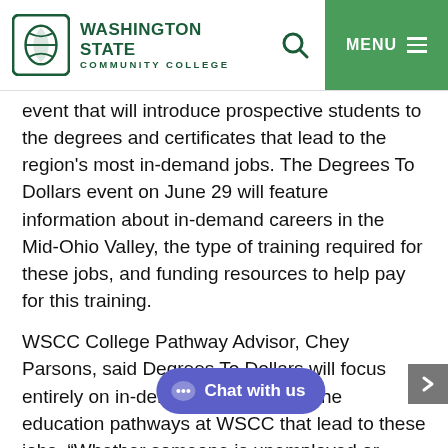WASHINGTON STATE COMMUNITY COLLEGE
event that will introduce prospective students to the degrees and certificates that lead to the region's most in-demand jobs. The Degrees To Dollars event on June 29 will feature information about in-demand careers in the Mid-Ohio Valley, the type of training required for these jobs, and funding resources to help pay for this training.
WSCC College Pathway Advisor, Chey Parsons, said Degrees To Dollars will focus entirely on in-demand careers and the education pathways at WSCC that lead to these jobs. "Whether someone is unemployed or underemployed, we want to help them explore their options to find good-paying jobs in our region. There are a variety of pathways that students can choose, including both associate degree and one year certificate options as well as flexible course formats like